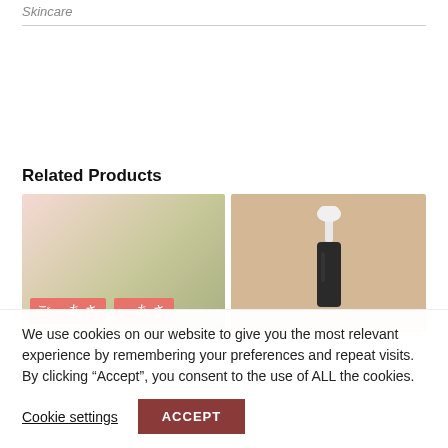Skincare
Related Products
[Figure (photo): Two pink product boxes with Korean text on a mixed pink and olive green background]
[Figure (photo): A white pump dispenser bottle on a beige/tan background]
We use cookies on our website to give you the most relevant experience by remembering your preferences and repeat visits. By clicking “Accept”, you consent to the use of ALL the cookies.
Cookie settings
ACCEPT